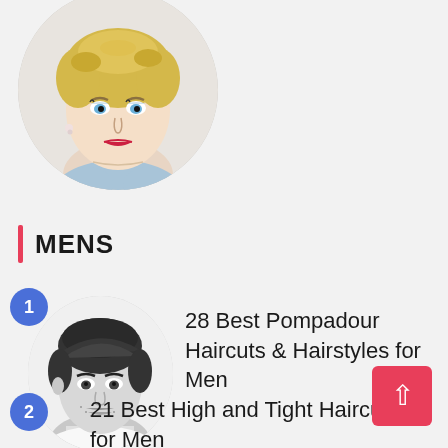[Figure (photo): Circular portrait photo of a blonde woman with vintage-style hair and makeup, wearing blue floral clothing, on a white background]
MENS
28 Best Pompadour Haircuts & Hairstyles for Men
[Figure (photo): Circular black and white portrait photo of a man with a pompadour hairstyle and facial stubble, wearing a white shirt, with badge number 1]
21 Best High and Tight Haircuts for Men